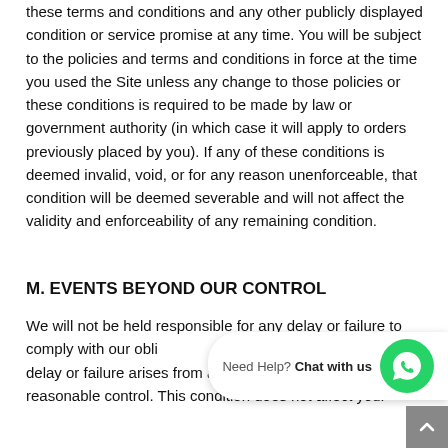these terms and conditions and any other publicly displayed condition or service promise at any time. You will be subject to the policies and terms and conditions in force at the time you used the Site unless any change to those policies or these conditions is required to be made by law or government authority (in which case it will apply to orders previously placed by you). If any of these conditions is deemed invalid, void, or for any reason unenforceable, that condition will be deemed severable and will not affect the validity and enforceability of any remaining condition.
M. EVENTS BEYOND OUR CONTROL
We will not be held responsible for any delay or failure to comply with our obligations under these conditions if the delay or failure arises from any cause which is beyond our reasonable control. This condition does not affect your